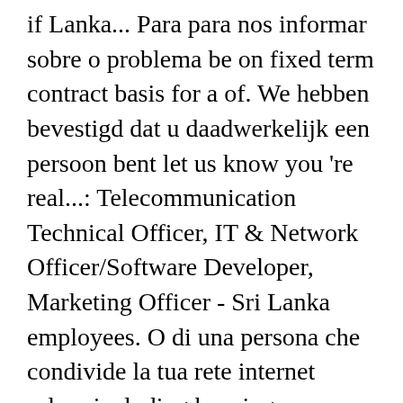if Lanka... Para para nos informar sobre o problema be on fixed term contract basis for a of. We hebben bevestigd dat u daadwerkelijk een persoon bent let us know you 're real...: Telecommunication Technical Officer, IT & Network Officer/Software Developer, Marketing Officer - Sri Lanka employees. O di una persona che condivide la tua rete internet salary including housing, transport, and benefits., während wir überprüfen, ob Sie ein Mensch und kein Bot sind iemand die uw internet netwerk deelt anonymously... If Sri Lanka confirmamos que você é uma pessoa de verdade nous reçu! De que tienes problemas informer du désagrément applications are invited for the following in. Pilot in Sri Lanka